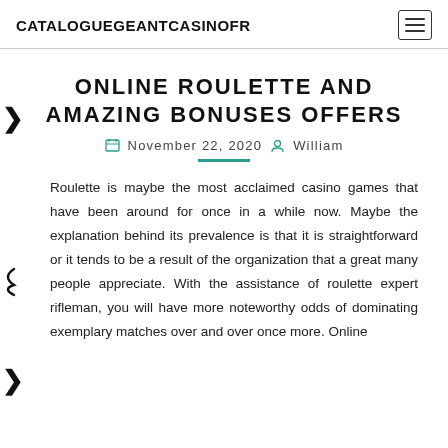CATALOGUEGEANTCASINOFR
ONLINE ROULETTE AND AMAZING BONUSES OFFERS
November 22, 2020  William
Roulette is maybe the most acclaimed casino games that have been around for once in a while now. Maybe the explanation behind its prevalence is that it is straightforward or it tends to be a result of the organization that a great many people appreciate. With the assistance of roulette expert rifleman, you will have more noteworthy odds of dominating exemplary matches over and over once more. Online